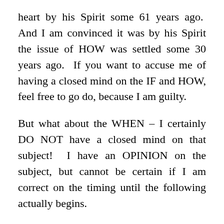heart by his Spirit some 61 years ago.  And I am convinced it was by his Spirit the issue of HOW was settled some 30 years ago.  If you want to accuse me of having a closed mind on the IF and HOW, feel free to go do, because I am guilty.
But what about the WHEN – I certainly DO NOT have a closed mind on that subject!  I have an OPINION on the subject, but cannot be certain if I am correct on the timing until the following actually begins.
Luke 21:25,26 – And there shall be signs in the sun, and in the moon, and in the stars; and upon the earth distress of nations, with